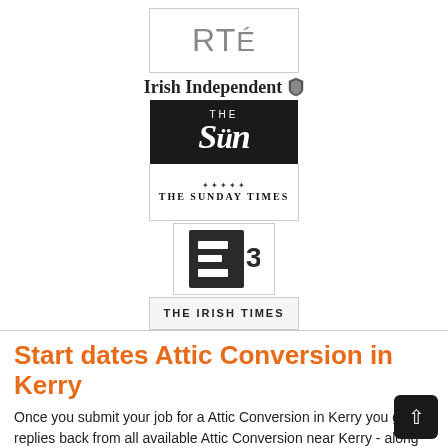[Figure (logo): RTE logo in a light grey bordered box]
[Figure (logo): Irish Independent logo with shield emblem]
[Figure (logo): The Sun logo, white text on black background]
[Figure (logo): The Sunday Times logo with ornamental crest]
[Figure (logo): E3 channel logo, dark square with E3 mark]
[Figure (logo): The Irish Times logo in grey bordered box]
Start dates Attic Conversion in Kerry
Once you submit your job for a Attic Conversion in Kerry you get replies back from all available Attic Conversion near Kerry - along